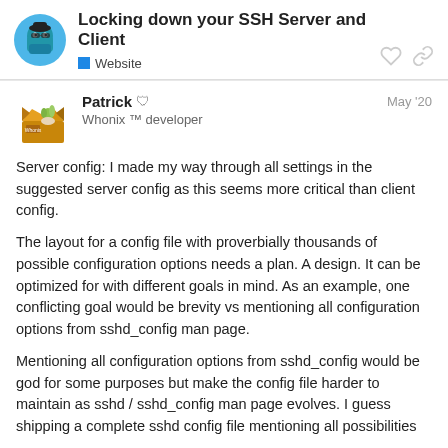Locking down your SSH Server and Client
Website
Patrick
Whonix ™ developer
May '20
Server config: I made my way through all settings in the suggested server config as this seems more critical than client config.
The layout for a config file with proverbially thousands of possible configuration options needs a plan. A design. It can be optimized for with different goals in mind. As an example, one conflicting goal would be brevity vs mentioning all configuration options from sshd_config man page.
Mentioning all configuration options from sshd_config would be god for some purposes but make the config file harder to maintain as sshd / sshd_config man page evolves. I guess shipping a complete sshd config file mentioning all possibilities